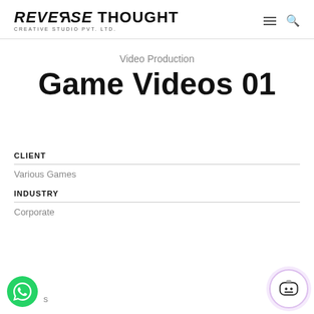REVERSE THOUGHT CREATIVE STUDIO PVT. LTD.
Video Production
Game Videos 01
CLIENT
Various Games
INDUSTRY
Corporate